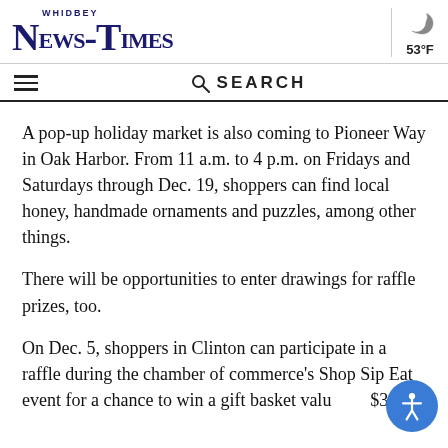Whidbey News-Times | 53°F
A pop-up holiday market is also coming to Pioneer Way in Oak Harbor. From 11 a.m. to 4 p.m. on Fridays and Saturdays through Dec. 19, shoppers can find local honey, handmade ornaments and puzzles, among other things.
There will be opportunities to enter drawings for raffle prizes, too.
On Dec. 5, shoppers in Clinton can participate in a raffle during the chamber of commerce's Shop Sip Eat event for a chance to win a gift basket valued at $300.